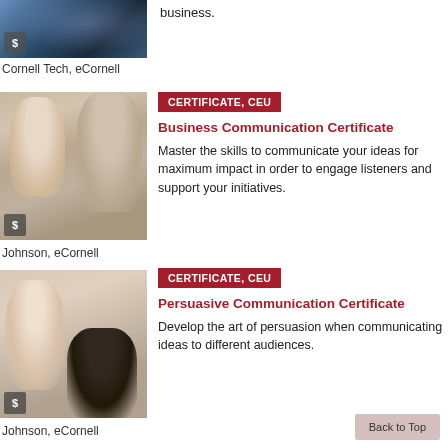[Figure (photo): Partial image of circuit board with dollar badge, top of page]
business.
Cornell Tech, eCornell
[Figure (photo): Two women smiling, one wearing hijab, with dollar badge overlay]
CERTIFICATE, CEU
Business Communication Certificate
Master the skills to communicate your ideas for maximum impact in order to engage listeners and support your initiatives.
Johnson, eCornell
[Figure (photo): Business woman presenting to a man, with dollar badge overlay]
CERTIFICATE, CEU
Persuasive Communication Certificate
Develop the art of persuasion when communicating ideas to different audiences.
Johnson, eCornell